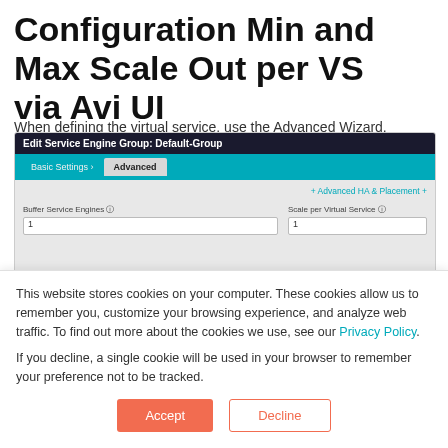Configuration Min and Max Scale Out per VS via Avi UI
When defining the virtual service, use the Advanced Wizard.
[Figure (screenshot): Screenshot of 'Edit Service Engine Group: Default-Group' dialog showing Basic Settings and Advanced tabs, with Advanced tab selected. Shows 'Advanced HA & Placement' link, 'Buffer Service Engines' field with value 1, and 'Scale per Virtual Service' field with value 1.]
This website stores cookies on your computer. These cookies allow us to remember you, customize your browsing experience, and analyze web traffic. To find out more about the cookies we use, see our Privacy Policy.
If you decline, a single cookie will be used in your browser to remember your preference not to be tracked.